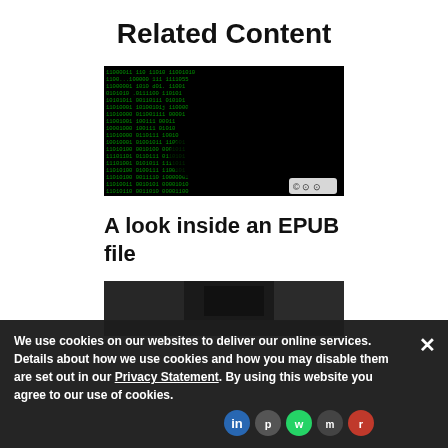Related Content
[Figure (photo): Dark background with green binary code matrix pattern, showing a silhouette of a person. A Creative Commons license badge is visible in the bottom-right corner.]
A look inside an EPUB file
[Figure (photo): Partially visible dark blurred photograph, cut off at bottom of page.]
We use cookies on our websites to deliver our online services. Details about how we use cookies and how you may disable them are set out in our Privacy Statement. By using this website you agree to our use of cookies.